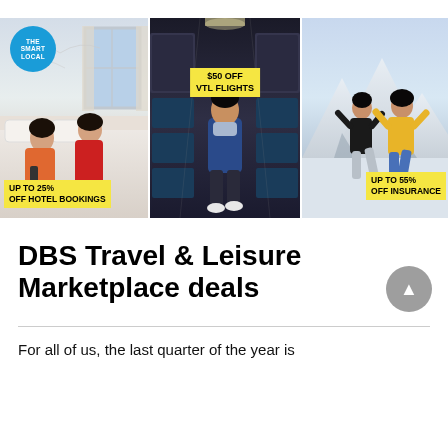[Figure (photo): Three-panel promotional image collage. Left panel: hotel room with two women on bed, 'The Smart Local' blue circular badge top-left, yellow label 'UP TO 25% OFF HOTEL BOOKINGS' bottom-left. Middle panel: airplane interior aisle with person walking, yellow label '$50 OFF VTL FLIGHTS'. Right panel: couple jumping in snowy mountain scene, yellow label 'UP TO 55% OFF INSURANCE' bottom-right.]
DBS Travel & Leisure Marketplace deals
For all of us, the last quarter of the year is